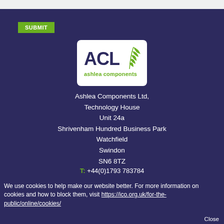[Figure (logo): ACL Ashlea Components logo: white rounded rectangle containing bold dark blue ACL text with green leaf/plant graphic, and 'ashlea components' in green below]
Ashlea Components Ltd,
Technology House
Unit 24a
Shrivenham Hundred Business Park
Watchfield
Swindon
SN6 8TZ
T: +44(0)1793 783784
E: sales@ashlea.co.uk
We use cookies to help make our website better. For more information on cookies and how to block them, visit https://ico.org.uk/for-the-public/online/cookies/